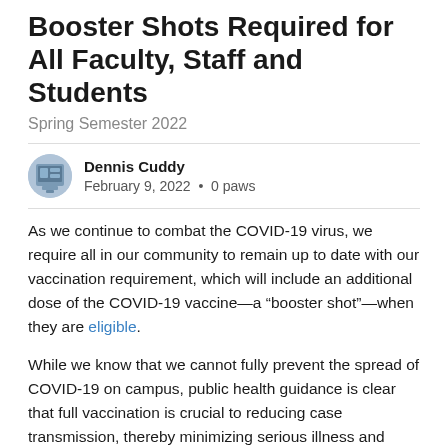Booster Shots Required for All Faculty, Staff and Students
Spring Semester 2022
Dennis Cuddy
February 9, 2022 • 0 paws
As we continue to combat the COVID-19 virus, we require all in our community to remain up to date with our vaccination requirement, which will include an additional dose of the COVID-19 vaccine—a “booster shot”—when they are eligible.
While we know that we cannot fully prevent the spread of COVID-19 on campus, public health guidance is clear that full vaccination is crucial to reducing case transmission, thereby minimizing serious illness and hospitalization in our community. Especially in high risk transmission areas, these actions are key to our ability to continue to offer on-campus housing, in-person classes,